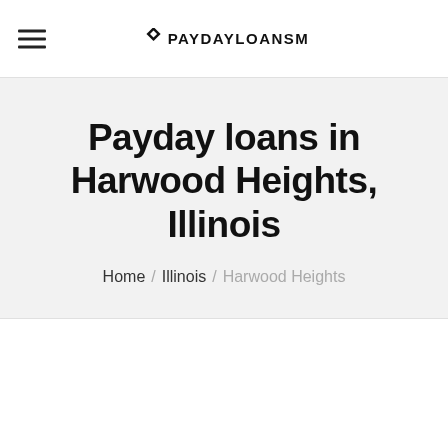PAYDAYLOANSM
Payday loans in Harwood Heights, Illinois
Home / Illinois / Harwood Heights